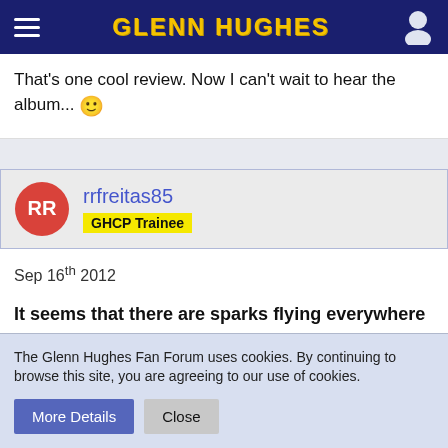GLENN HUGHES
That's one cool review. Now I can't wait to hear the album... 🙂
rrfreitas85
GHCP Trainee
Sep 16th 2012
It seems that there are sparks flying everywhere in Afterglow! Hope the band can get their **** sorted out!
The Glenn Hughes Fan Forum uses cookies. By continuing to browse this site, you are agreeing to our use of cookies.